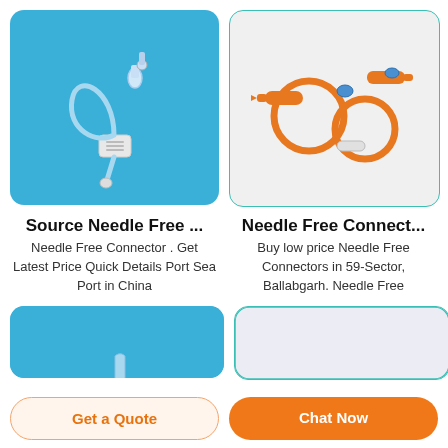[Figure (photo): Needle-free connector medical device on blue background]
[Figure (photo): Orange IV tubing needle-free connectors on light grey background]
Source Needle Free ...
Needle Free Connector . Get Latest Price Quick Details Port Sea Port in China
Needle Free Connect...
Buy low price Needle Free Connectors in 59-Sector, Ballabgarh. Needle Free
[Figure (photo): Partial blue background card, bottom left]
[Figure (photo): Partial light grey card, bottom right]
Get a Quote
Chat Now